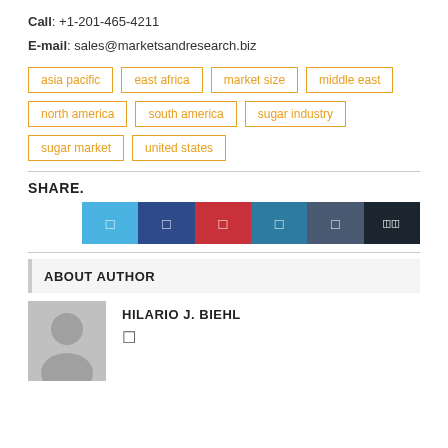Call: +1-201-465-4211
E-mail: sales@marketsandresearch.biz
asia pacific
east africa
market size
middle east
north america
south america
sugar industry
sugar market
united states
SHARE.
[Figure (other): Social share buttons: Twitter, Facebook, Pinterest, LinkedIn, Tumblr, More]
ABOUT AUTHOR
HILARIO J. BIEHL
[Figure (photo): Generic user avatar silhouette on grey background]